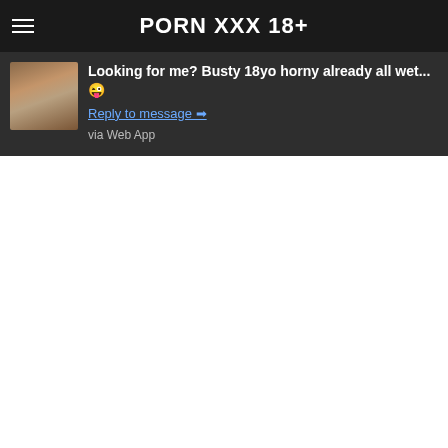PORN XXX 18+
Looking for me? Busty 18yo horny already all wet...😜
Reply to message ➡
via Web App